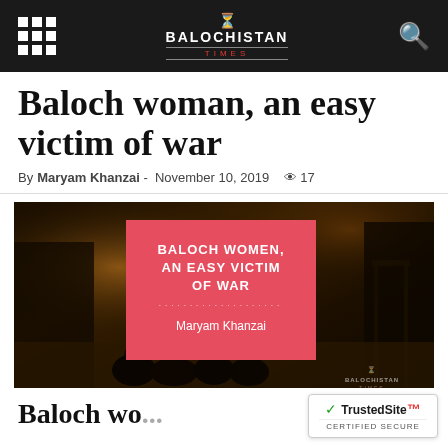Balochistan Times
Baloch woman, an easy victim of war
By Maryam Khanzai - November 10, 2019  👁 17
[Figure (photo): Night photograph showing silhouettes of women sitting on the ground outside a building, with a red overlay box containing the text BALOCH WOMEN, AN EASY VICTIM OF WAR by Maryam Khanzai and the Balochistan Times watermark]
Baloch wo...